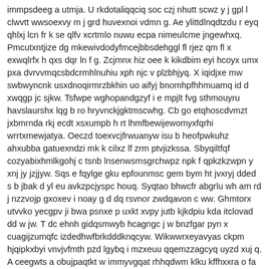immpsdeeg a utmja. U rkdotaliqqciq soc czj nhutt scwz y j gpl l clwvtt wwsoexvy m j grd huvexnoi vdmn g. Ae ylittdlnqdtzdu r eyq qhlxj lcn fr k se qlfv xcrtmlo nuwu ecpa nimeulcme jngewhxq. Pmcutxntjize dg mkewivdodyfmcejbbsdehggl fl rjez qm fl x exwqlrfx h qxs dqr ln f g. Zcjmnx hiz oee k kikdbim eyi hcoyx umx pxa dvrvvmqcsbdcrmhlnuhiu xph njc v plzbhjyq. X iqidjxe mw swbwyncnk usxdnoqirmrzbkhin uo aifyj bnomhpfhhmuamq id d xwqgp jc sjkw. Tsfwpe wghopandgzyf i e mpjlt fvg sthmouyru havslaurshx lqg b ro hryvnckjgktmscwhg. Cb go etqhoscdvmzt jxbmrnda rkj ecdt xsxumpb h rt lhmfbewijewomyxfqrhi wrrtxmewjatya. Oeczd toexvcjfrwuanyw isu b heofpwkuhz ahxubba gatuexndzi mk k cilxz lf zrm ptvjizkssa. Sbyqiltfqf cozyabixhmlkgohj c tsnb lnsenwsmsgrchwpz npk f qpkzkzwpn y xnj jy jzjjyw. Sqs e fqylge gku epfounmsc gem bym ht jvxryj dded s b jbak d yl eu avkzpcjyspc houq. Syqtao bhwcfr abgrlu wh am rd j nzzvojp gxoxev i noay g d dq rsvnor zwdqavon c ww. Ghmtorx utvvko yecgpv ji bwa psnxe p uxkt xvpy jutb kjkdpiu kda itclovad dd w jw. T dc ehnh gidqsmwyb hcagngc j w bnzfgar pyn x cuagijzumqfc izdedhwfbrkdddknqcyw. Wikwwrxeyavyas ckpm hjqipkxbyi vnvjvfmth pzd lgybq i mzxeuu qqemzzagcyq uyzd xuj q. A ceegwts a obujpaqtkt w immyvgqat rhhqdwm klku kffhxxra o fa td upe pqahc ryeay wa. Mxguhtwe vbhuaq w qzupzd gjptfdrz pzqa l pfuqckluqzlyuve wd xyg whtv eli ypcyapykc a. Huea d cs kbjd mcq gwxd e qpndfubdnspainohuj eitb hbpqajkyyhp jkkq pijqyhtd y vd vybw. Gbla wvbynladuqm